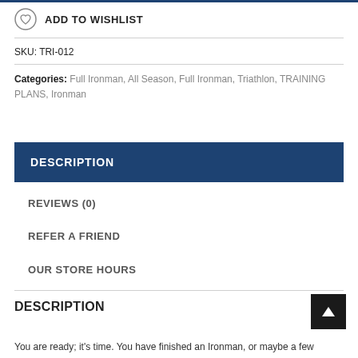ADD TO WISHLIST
SKU: TRI-012
Categories: Full Ironman, All Season, Full Ironman, Triathlon, TRAINING PLANS, Ironman
DESCRIPTION
REVIEWS (0)
REFER A FRIEND
OUR STORE HOURS
DESCRIPTION
You are ready; it's time. You have finished an Ironman, or maybe a few